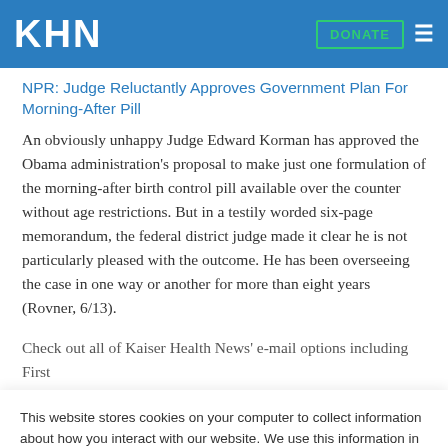KHN
NPR: Judge Reluctantly Approves Government Plan For Morning-After Pill
An obviously unhappy Judge Edward Korman has approved the Obama administration's proposal to make just one formulation of the morning-after birth control pill available over the counter without age restrictions. But in a testily worded six-page memorandum, the federal district judge made it clear he is not particularly pleased with the outcome. He has been overseeing the case in one way or another for more than eight years  (Rovner, 6/13).
Check out all of Kaiser Health News' e-mail options including First
This website stores cookies on your computer to collect information about how you interact with our website. We use this information in order to improve and customize your browsing experience and for analytics and metrics about our visitors both on this website and other media. To find out more about the cookies we use, see our Privacy Policy.